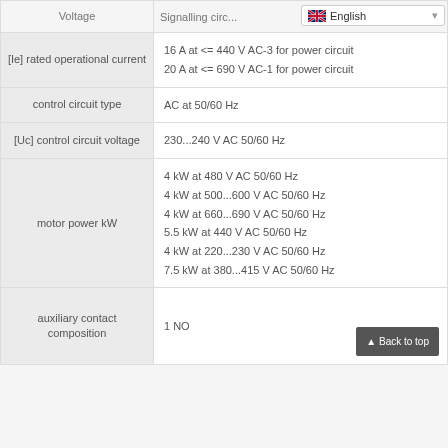| Property | Value |
| --- | --- |
| Voltage | Signalling circuit... |
| [Ie] rated operational current | 16 A at <= 440 V AC-3 for power circuit
20 A at <= 690 V AC-1 for power circuit |
| control circuit type | AC at 50/60 Hz |
| [Uc] control circuit voltage | 230...240 V AC 50/60 Hz |
| motor power kW | 4 kW at 480 V AC 50/60 Hz
4 kW at 500...600 V AC 50/60 Hz
4 kW at 660...690 V AC 50/60 Hz
5.5 kW at 440 V AC 50/60 Hz
4 kW at 220...230 V AC 50/60 Hz
7.5 kW at 380...415 V AC 50/60 Hz |
| auxiliary contact composition | 1 NO |